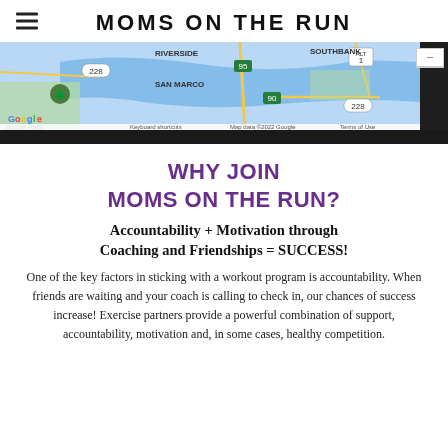MOMS ON THE RUN
[Figure (map): Google Maps screenshot showing Boone Park, Riverside, San Marco, Southbank area of Jacksonville, FL. Shows route 228, 95, 90, ALT 1, with a water body (St. Johns River) visible. Map data ©2022 Google. Keyboard shortcuts and Terms of Use links visible.]
WHY JOIN MOMS ON THE RUN?
Accountability + Motivation through Coaching and Friendships = SUCCESS!
One of the key factors in sticking with a workout program is accountability. When friends are waiting and your coach is calling to check in, our chances of success increase! Exercise partners provide a powerful combination of support, accountability, motivation and, in some cases, healthy competition.